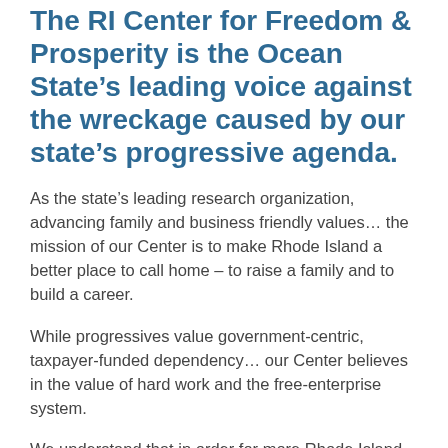The RI Center for Freedom & Prosperity is the Ocean State's leading voice against the wreckage caused by our state's progressive agenda.
As the state's leading research organization, advancing family and business friendly values… the mission of our Center is to make Rhode Island a better place to call home – to raise a family and to build a career.
While progressives value government-centric, taxpayer-funded dependency… our Center believes in the value of hard work and the free-enterprise system.
We understand that in order for more Rhode Island families to have a better quality of life, that